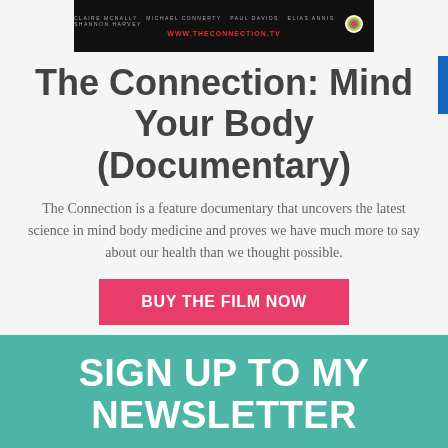[Figure (photo): Movie banner for The Connection documentary with dark background, crew credits text, red URL www.theconnection.tv, and a small logo on the right]
The Connection: Mind Your Body (Documentary)
The Connection is a feature documentary that uncovers the latest science in mind body medicine and proves we have much more to say about our health than we thought possible.
BUY THE FILM NOW
SIGN UP TO MY NEWSLETTER
I'm dedicated to high-quality health journalism and storytelling. If you value these things too, subscribe to my